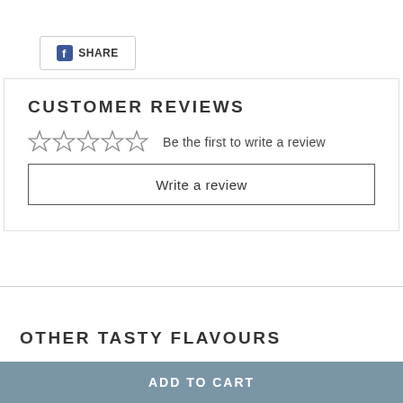[Figure (logo): Facebook share button with Facebook logo icon and SHARE text]
CUSTOMER REVIEWS
☆☆☆☆☆  Be the first to write a review
Write a review
OTHER TASTY FLAVOURS
ADD TO CART